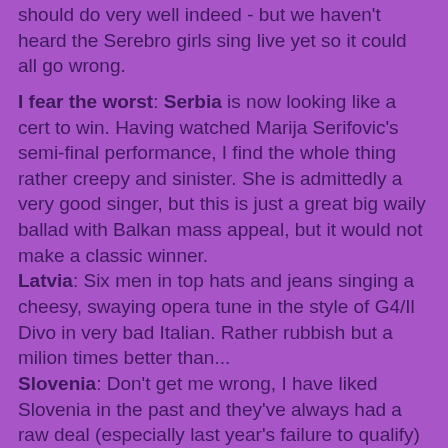should do very well indeed - but we haven't heard the Serebro girls sing live yet so it could all go wrong.
I fear the worst: Serbia is now looking like a cert to win. Having watched Marija Serifovic's semi-final performance, I find the whole thing rather creepy and sinister. She is admittedly a very good singer, but this is just a great big waily ballad with Balkan mass appeal, but it would not make a classic winner.
Latvia: Six men in top hats and jeans singing a cheesy, swaying opera tune in the style of G4/Il Divo in very bad Italian. Rather rubbish but a milion times better than...
Slovenia: Don't get me wrong, I have liked Slovenia in the past and they've always had a raw deal (especially last year's failure to qualify) but this one really stinks. Disco-opera (and that's flattering it) sung by a soprano with bizarre facial expressions.
Bulgaria: It's a song contest remember. Not a drumming contest with occasional yelping. Two years out of date - the 2005 contest was full of this type of nonsense.
Predictions: I think any of the following have a real chance -